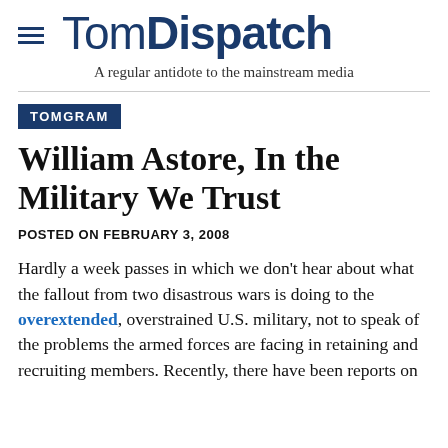TomDispatch — A regular antidote to the mainstream media
TOMGRAM
William Astore, In the Military We Trust
POSTED ON FEBRUARY 3, 2008
Hardly a week passes in which we don't hear about what the fallout from two disastrous wars is doing to the overextended, overstrained U.S. military, not to speak of the problems the armed forces are facing in retaining and recruiting members. Recently, there have been reports on